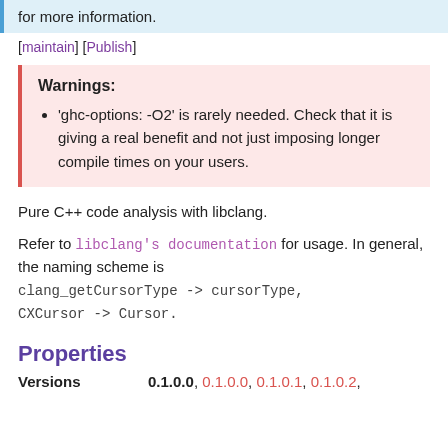for more information.
[maintain] [Publish]
Warnings:
'ghc-options: -O2' is rarely needed. Check that it is giving a real benefit and not just imposing longer compile times on your users.
Pure C++ code analysis with libclang.
Refer to libclang's documentation for usage. In general, the naming scheme is clang_getCursorType -> cursorType, CXCursor -> Cursor.
Properties
Versions   0.1.0.0, 0.1.0.0, 0.1.0.1, 0.1.0.2,